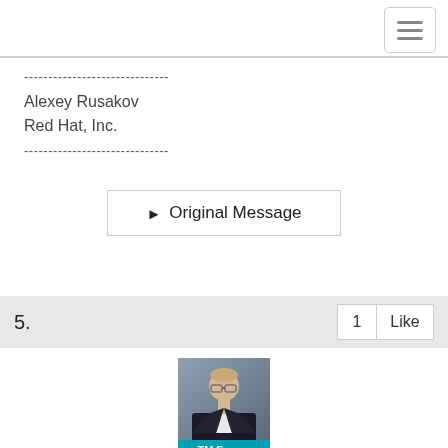navigation bar with hamburger menu
------------------------------
Alexey Rusakov
Red Hat, Inc.
------------------------------
▶ Original Message
5.
1  Like
[Figure (photo): Profile photo of a person wearing glasses in a dark suit, with a TM Forum label below]